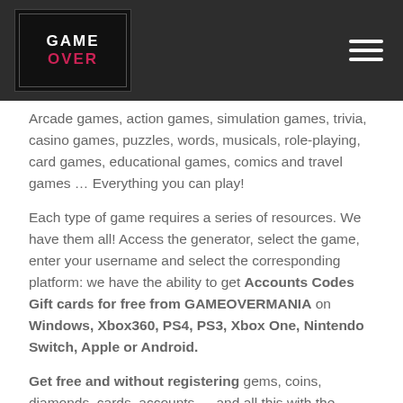GAME OVER [logo]
Arcade games, action games, simulation games, trivia, casino games, puzzles, words, musicals, role-playing, card games, educational games, comics and travel games … Everything you can play!
Each type of game requires a series of resources. We have them all! Access the generator, select the game, enter your username and select the corresponding platform: we have the ability to get Accounts Codes Gift cards for free from GAMEOVERMANIA on Windows, Xbox360, PS4, PS3, Xbox One, Nintendo Switch, Apple or Android.
Get free and without registering gems, coins, diamonds, cards, accounts … and all this with the assurance that they work.
ADVANTAGES OF THIS